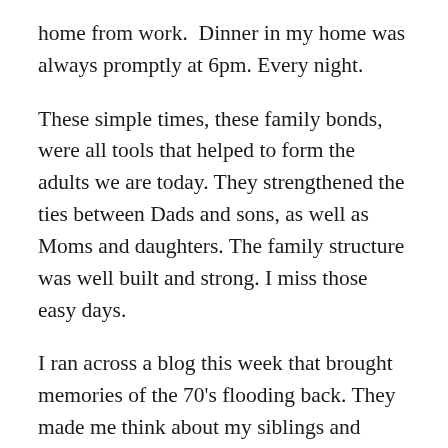home from work.  Dinner in my home was always promptly at 6pm. Every night.
These simple times, these family bonds, were all tools that helped to form the adults we are today. They strengthened the ties between Dads and sons, as well as Moms and daughters. The family structure was well built and strong. I miss those easy days.
I ran across a blog this week that brought memories of the 70's flooding back. They made me think about my siblings and friends from the old neighborhood, as well as my parents. Especially my Mom. Our bond was unshakable. We were close. Not so much through the teen years, which in my eyes, is a normal part of